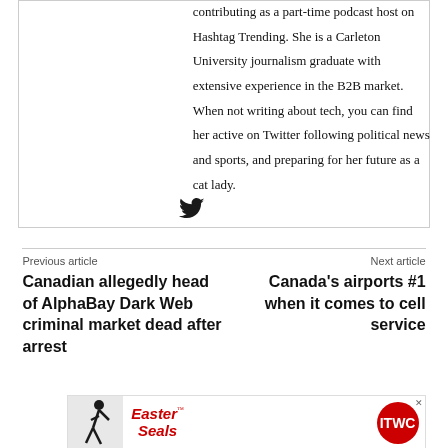contributing as a part-time podcast host on Hashtag Trending. She is a Carleton University journalism graduate with extensive experience in the B2B market. When not writing about tech, you can find her active on Twitter following political news and sports, and preparing for her future as a cat lady.
[Figure (illustration): Twitter bird icon (social media link)]
Previous article
Canadian allegedly head of AlphaBay Dark Web criminal market dead after arrest
Next article
Canada's airports #1 when it comes to cell service
[Figure (photo): Easter Seals advertisement banner with golfer silhouette, Easter Seals logo, and ITWC red circle badge]